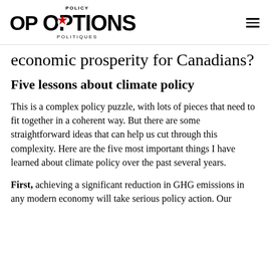POLICY OPTIONS POLITIQUES
economic prosperity for Canadians?
Five lessons about climate policy
This is a complex policy puzzle, with lots of pieces that need to fit together in a coherent way. But there are some straightforward ideas that can help us cut through this complexity. Here are the five most important things I have learned about climate policy over the past several years.
First, achieving a significant reduction in GHG emissions in any modern economy will take serious policy action. Our